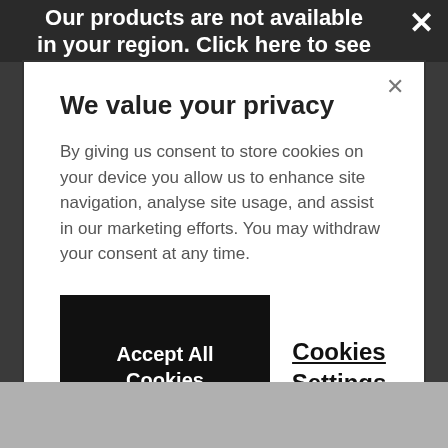Our products are not available in your region. Click here to see
We value your privacy
By giving us consent to store cookies on your device you allow us to enhance site navigation, analyse site usage, and assist in our marketing efforts. You may withdraw your consent at any time.
Accept All Cookies
Cookies Settings